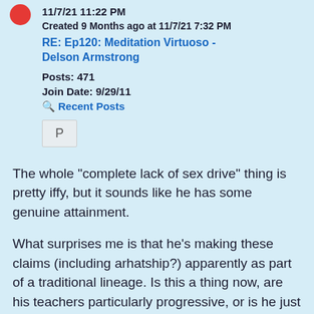11/7/21 11:22 PM
Created 9 Months ago at 11/7/21 7:32 PM
RE: Ep120: Meditation Virtuoso - Delson Armstrong
Posts: 471
Join Date: 9/29/11
Recent Posts
[Figure (other): Letter P button/icon]
The whole "complete lack of sex drive" thing is pretty iffy, but it sounds like he has some genuine attainment.
What surprises me is that he's making these claims (including arhatship?) apparently as part of a traditional lineage. Is this a thing now, are his teachers particularly progressive, or is he just going